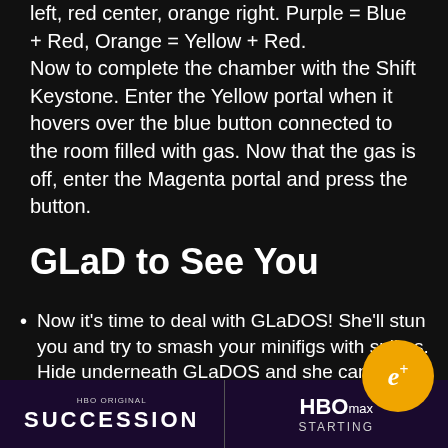left, red center, orange right. Purple = Blue + Red. Orange = Yellow + Red.
Now to complete the chamber with the Shift Keystone. Enter the Yellow portal when it hovers over the blue button connected to the room filled with gas. Now that the gas is off, enter the Magenta portal and press the button.
GLaD to See You
Now it's time to deal with GLaDOS! She'll stun you and try to smash your minifigs with spikes. Hide underneath GLaDOS and she can't crush you.
When the Shift Keystone appears, activate it to enter the second phase. She'll fill three chambers with gas. Teleport to the portal next to the gas containers... an Orange Handle. Pull it in turn-style
[Figure (logo): e+ badge (circular gold badge with italic e+)]
[Figure (screenshot): Bottom overlay bar showing HBO Succession and HBO Max Starting banners]